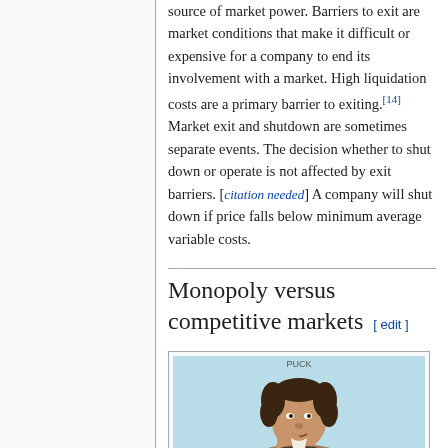source of market power. Barriers to exit are market conditions that make it difficult or expensive for a company to end its involvement with a market. High liquidation costs are a primary barrier to exiting.[14] Market exit and shutdown are sometimes separate events. The decision whether to shut down or operate is not affected by exit barriers. [citation needed] A company will shut down if price falls below minimum average variable costs.
Monopoly versus competitive markets [edit]
[Figure (illustration): Historical portrait illustration of a man with curly hair, resting his chin on his hand, shown from the shoulders up, against a light blue background. Small text label at top of image.]